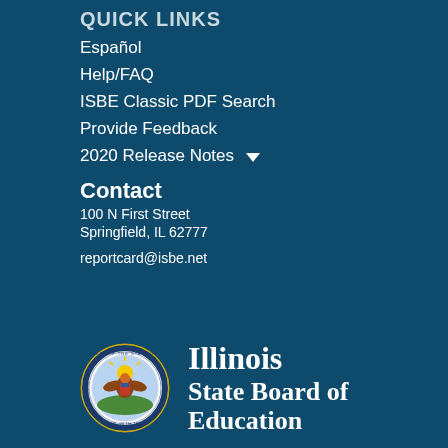Quick Links
Español
Help/FAQ
ISBE Classic PDF Search
Provide Feedback
2020 Release Notes
Contact
100 N First Street
Springfield, IL 62777
reportcard@isbe.net
[Figure (logo): Illinois State Board of Education logo with state seal]